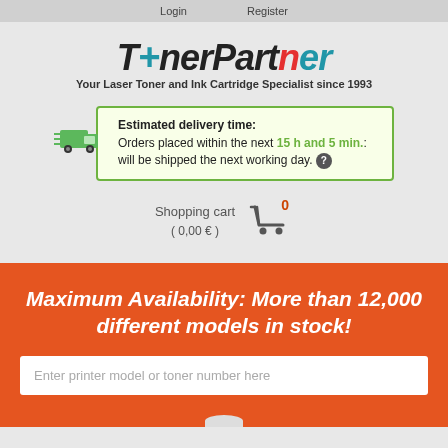Login   Register
[Figure (logo): TonerPartner logo with Finnish flag cross in the letter T, multicolor brand name. Tagline: Your Laser Toner and Ink Cartridge Specialist since 1993]
Estimated delivery time:
Orders placed within the next 15 h and 5 min.: will be shipped the next working day.
Shopping cart  0
( 0,00 € )
Maximum Availability: More than 12,000 different models in stock!
Enter printer model or toner number here